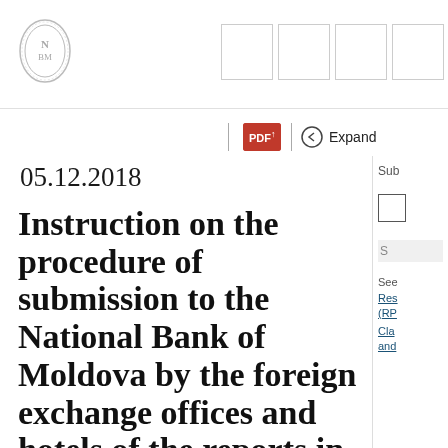[Figure (logo): National Bank of Moldova ornate circular logo/seal, grey tones]
[Figure (infographic): Four navigation/tab boxes in header top right]
[Figure (infographic): PDF icon (red), circle-left arrow icon, Expand button in toolbar row]
Sub
[Figure (other): Checkbox square outline]
S
See
Res
(RP
Cla
and
05.12.2018
Instruction on the procedure of submission to the National Bank of Moldova by the foreign exchange offices and hotels of the reports in electronic form,